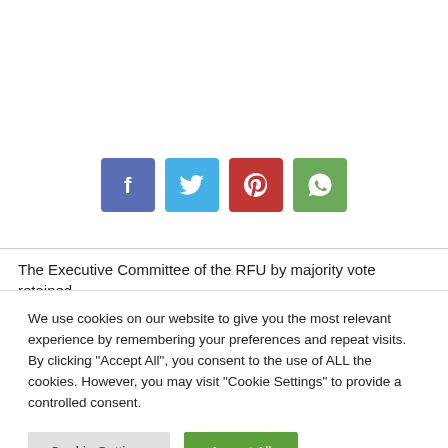[Figure (other): Social media share buttons: Facebook (blue-purple), Twitter (blue), Pinterest (red), WhatsApp (green)]
The Executive Committee of the RFU by majority vote retained
We use cookies on our website to give you the most relevant experience by remembering your preferences and repeat visits. By clicking "Accept All", you consent to the use of ALL the cookies. However, you may visit "Cookie Settings" to provide a controlled consent.
Cookie Settings
Accept All